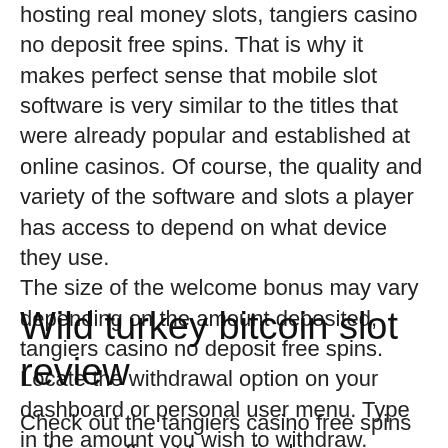hosting real money slots, tangiers casino no deposit free spins. That is why it makes perfect sense that mobile slot software is very similar to the titles that were already popular and established at online casinos. Of course, the quality and variety of the software and slots a player has access to depend on what device they use.
The size of the welcome bonus may vary depending on the amount deposited, tangiers casino no deposit free spins. Locate the withdrawal option on your dashboard or personal user menu. Type in the amount you wish to withdraw. Select the payment method you wish to have the funds withdrawn to, tangiers casino no deposit free spins.
Wild turkey bitcoin slot review
Check out the tangiers casino free spins welcome offer at free spins bonuses. Road